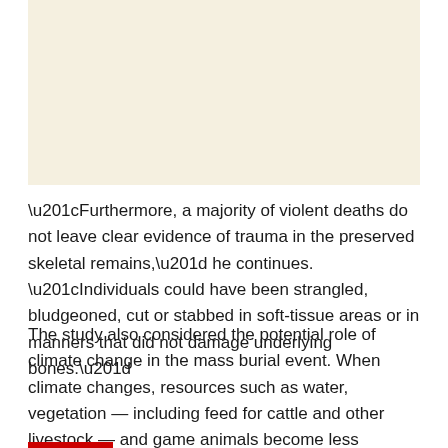[Figure (photo): A light beige/cream colored image placeholder at the top of the page]
“Furthermore, a majority of violent deaths do not leave clear evidence of trauma in the preserved skeletal remains,” he continues. “Individuals could have been strangled, bludgeoned, cut or stabbed in soft-tissue areas or in manners that did not damage underlying bones.”
The study also considered the potential role of climate change in the mass burial event. When climate changes, resources such as water, vegetation — including feed for cattle and other livestock — and game animals become less predictable. Furthermore, hazards, such as unpredictable extreme weather, become more common.